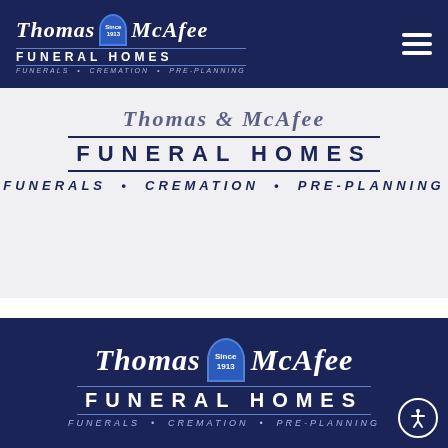[Figure (screenshot): Thomas McAfee Funeral Homes website header navigation bar with logo on dark navy background and hamburger menu icon]
[Figure (screenshot): Thomas McAfee Funeral Homes website logo shown in main content area on light gray background — FUNERAL HOMES with FUNERALS • CREMATION • PRE-PLANNING]
[Figure (logo): Thomas McAfee Funeral Homes logo on dark navy background — Since 1913 badge, script text Thomas McAfee, FUNERAL HOMES, FUNERALS • CREMATION • PRE-PLANNING, with accessibility icon bottom right]